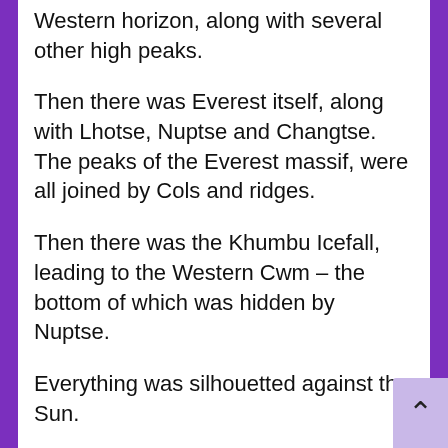Western horizon, along with several other high peaks.
Then there was Everest itself, along with Lhotse, Nuptse and Changtse. The peaks of the Everest massif, were all joined by Cols and ridges.
Then there was the Khumbu Icefall, leading to the Western Cwm – the bottom of which was hidden by Nuptse.
Everything was silhouetted against the Sun.
Beyond that to the South East, was the vast massif of Makalu and its adjoining peak Chomolonzo.
To the North, the immeasurable Tibetan plateau stretched out as far as the eye could see.
As the balloonists approached Everest, they gained altitude, until they were about four thousand feet higher than the Summit level.